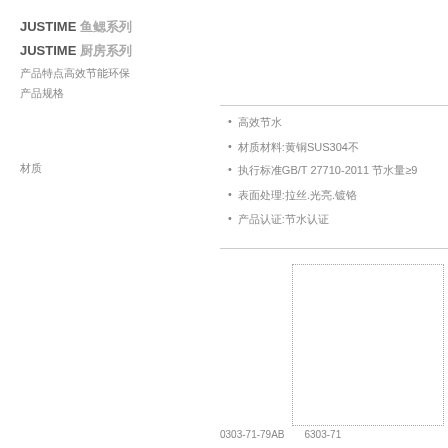JUSTIME 鱼鳃系列
JUSTIME 厨房系列
产品特点高效节能环保
产品规格
材质
高效节水
材质材料:黄铜SUS304不
执行标准GB/T 27710-2011 节水量≥9
表面处理:拉丝.光亮.镀铬
产品认证:节水认证
[Figure (other): Product image box placeholder]
0303-71-79AB   6303-71